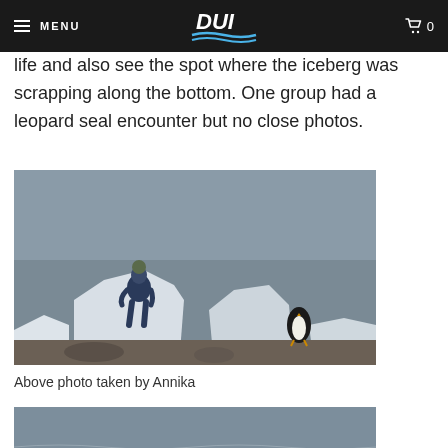MENU | DUI | 0
life and also see the spot where the iceberg was scrapping along the bottom. One group had a leopard seal encounter but no close photos.
[Figure (photo): A diver in a dry suit standing among ice chunks on a rocky Antarctic shore, with a penguin visible to the right. Gray ocean water in the background.]
Above photo taken by Annika
[Figure (photo): Partial view of ice chunks floating near an Antarctic shoreline with gray water in the background.]